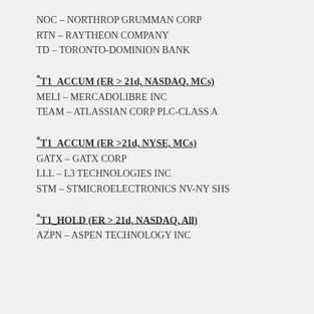NOC – NORTHROP GRUMMAN CORP
RTN – RAYTHEON COMPANY
TD – TORONTO-DOMINION BANK
*T1_ACCUM (ER > 21d, NASDAQ, MCs)
MELI – MERCADOLIBRE INC
TEAM – ATLASSIAN CORP PLC-CLASS A
*T1_ACCUM (ER >21d, NYSE, MCs)
GATX – GATX CORP
LLL – L3 TECHNOLOGIES INC
STM – STMICROELECTRONICS NV-NY SHS
*T1_HOLD (ER > 21d, NASDAQ, All)
AZPN – ASPEN TECHNOLOGY INC